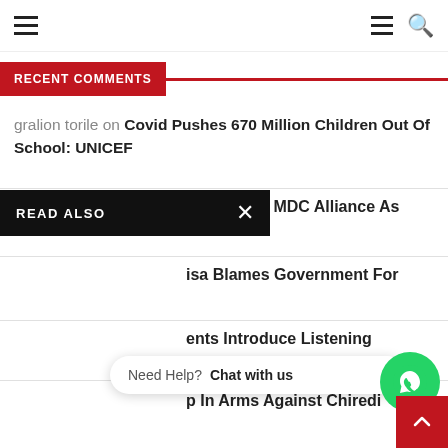Navigation bar with hamburger menu, hamburger icon, and search icon
RECENT COMMENTS
gralion torile on Covid Pushes 670 Million Children Out Of School: UNICEF
READ ALSO
nce' : Says MDC Alliance As
isa Blames Government For
ents Introduce Listening
p In Arms Against Chiredi
Need Help? Chat with us